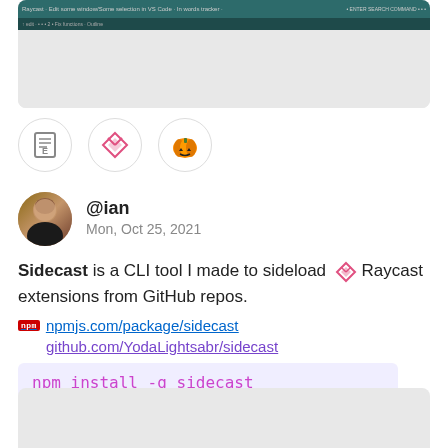[Figure (screenshot): Screenshot of a code editor or IDE with dark teal toolbar and gray content area]
[Figure (illustration): Three circular icons in a row: a document/editor icon (gray), a Raycast-like icon (pink/red), and a pumpkin emoji icon (orange)]
@ian
Mon, Oct 25, 2021
Sidecast is a CLI tool I made to sideload Raycast extensions from GitHub repos.
npmjs.com/package/sidecast
github.com/YodaLightsabr/sidecast
npm install -g sidecast
[Figure (screenshot): Bottom partial screenshot of a code editor or IDE with gray content area]